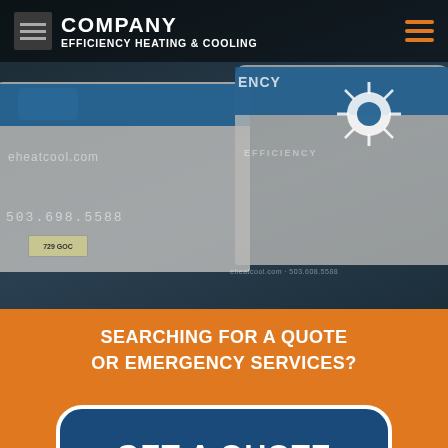COMPANY EFFICIENCY HEATING & COOLING
[Figure (photo): Company vans for Efficiency Heating & Cooling parked, showing blue and white branding with phone number and website eheatcool.com and 503.698.5588]
SEARCHING FOR A QUOTE OR EMERGENCY SERVICES?
GET A QUOTE NOW
THE PRIMARY SERVICES